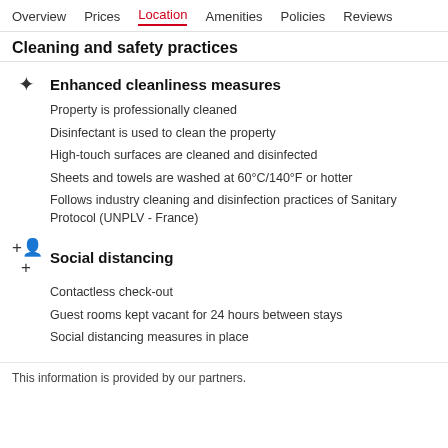Overview  Prices  Location  Amenities  Policies  Reviews
Cleaning and safety practices
Enhanced cleanliness measures
Property is professionally cleaned
Disinfectant is used to clean the property
High-touch surfaces are cleaned and disinfected
Sheets and towels are washed at 60°C/140°F or hotter
Follows industry cleaning and disinfection practices of Sanitary Protocol (UNPLV - France)
Social distancing
Contactless check-out
Guest rooms kept vacant for 24 hours between stays
Social distancing measures in place
This information is provided by our partners.